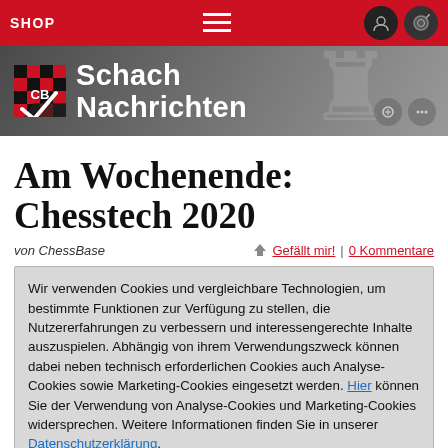SHOP
[Figure (screenshot): ChessBase website header with 'Schach Nachrichten' title, ChessBase logo, and stylized rook in background]
Am Wochenende: Chesstech 2020
von ChessBase | 👍 Gefällt mir! | 0 Kommentare
Wir verwenden Cookies und vergleichbare Technologien, um bestimmte Funktionen zur Verfügung zu stellen, die Nutzererfahrungen zu verbessern und interessengerechte Inhalte auszuspielen. Abhängig von ihrem Verwendungszweck können dabei neben technisch erforderlichen Cookies auch Analyse-Cookies sowie Marketing-Cookies eingesetzt werden. Hier können Sie der Verwendung von Analyse-Cookies und Marketing-Cookies widersprechen. Weitere Informationen finden Sie in unserer Datenschutzerklärung.
Verstanden und weiter